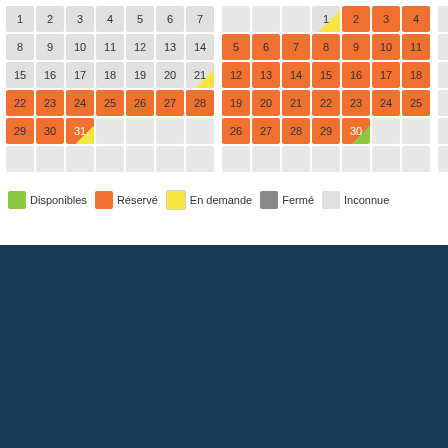[Figure (other): Calendar grid showing three months with color-coded availability: orange (reserved), green (available), yellow (on demand), grey (unknown). Three calendar columns visible with days numbered.]
Disponibles  Réservé  En demande  Fermé  Inconnue
Appartements - Penthouses - Studios - Bureaux - Locations commerciales - Maisons - Appartements à vendre ou à louer à Girona i Colera
Contactez-nous
Josep Ferrer Pabó API S.L. - Girona
C/ Migdia 50
17002 Girona